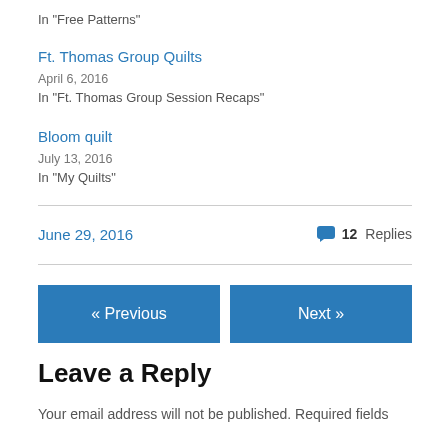In "Free Patterns"
Ft. Thomas Group Quilts
April 6, 2016
In "Ft. Thomas Group Session Recaps"
Bloom quilt
July 13, 2016
In "My Quilts"
June 29, 2016
12 Replies
« Previous
Next »
Leave a Reply
Your email address will not be published. Required fields